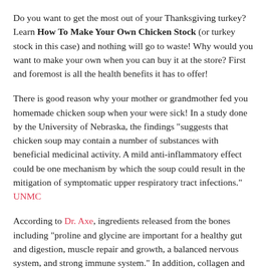Do you want to get the most out of your Thanksgiving turkey? Learn How To Make Your Own Chicken Stock (or turkey stock in this case) and nothing will go to waste! Why would you want to make your own when you can buy it at the store? First and foremost is all the health benefits it has to offer!
There is good reason why your mother or grandmother fed you homemade chicken soup when your were sick! In a study done by the University of Nebraska, the findings "suggests that chicken soup may contain a number of substances with beneficial medicinal activity. A mild anti-inflammatory effect could be one mechanism by which the soup could result in the mitigation of symptomatic upper respiratory tract infections." UNMC
According to Dr. Axe, ingredients released from the bones including "proline and glycine are important for a healthy gut and digestion, muscle repair and growth, a balanced nervous system, and strong immune system." In addition, collagen and gelatin formed in the bone broth prevent bone loss, reduce joint pain and promote healthy skin, hair, and nails